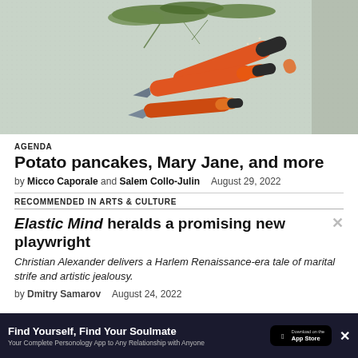[Figure (photo): Overhead view of orange-handled pruning shears and scissors resting on a white mesh/fabric surface with scattered green plant clippings]
AGENDA
Potato pancakes, Mary Jane, and more
by Micco Caporale and Salem Collo-Julin  August 29, 2022
RECOMMENDED IN ARTS & CULTURE
Elastic Mind heralds a promising new playwright
Christian Alexander delivers a Harlem Renaissance-era tale of marital strife and artistic jealousy.
by Dmitry Samarov  August 24, 2022
[Figure (screenshot): Advertisement banner: Find Yourself, Find Your Soulmate - Your Complete Personology App to Any Relationship with Anyone. App Store button visible.]